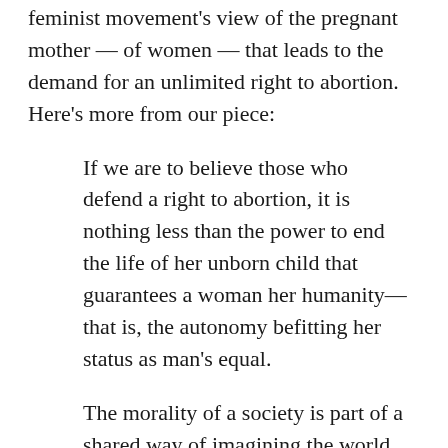feminist movement's view of the pregnant mother — of women — that leads to the demand for an unlimited right to abortion. Here's more from our piece:
If we are to believe those who defend a right to abortion, it is nothing less than the power to end the life of her unborn child that guarantees a woman her humanity—that is, the autonomy befitting her status as man's equal.
The morality of a society is part of a shared way of imagining the world, held in common by members of said society. For abortion to be plausible, let alone acceptable, a society must hold certain ideas intuitively. One is the idea